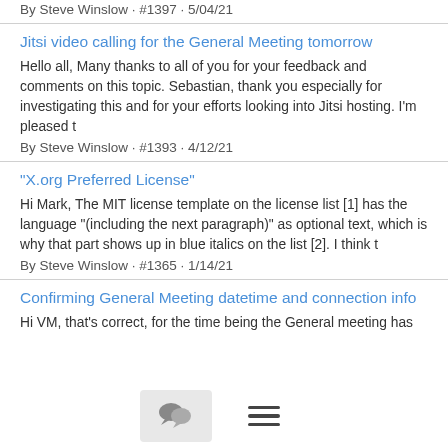By Steve Winslow · #1397 · 5/04/21
Jitsi video calling for the General Meeting tomorrow
Hello all, Many thanks to all of you for your feedback and comments on this topic. Sebastian, thank you especially for investigating this and for your efforts looking into Jitsi hosting. I'm pleased t
By Steve Winslow · #1393 · 4/12/21
"X.org Preferred License"
Hi Mark, The MIT license template on the license list [1] has the language "(including the next paragraph)" as optional text, which is why that part shows up in blue italics on the list [2]. I think t
By Steve Winslow · #1365 · 1/14/21
Confirming General Meeting datetime and connection info
Hi VM, that's correct, for the time being the General meeting has
[Figure (other): Bottom navigation bar with chat bubble icon button and hamburger menu icon]